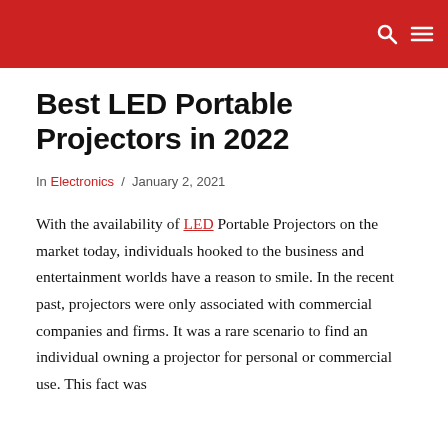Best LED Portable Projectors in 2022
In Electronics / January 2, 2021
With the availability of LED Portable Projectors on the market today, individuals hooked to the business and entertainment worlds have a reason to smile. In the recent past, projectors were only associated with commercial companies and firms. It was a rare scenario to find an individual owning a projector for personal or commercial use. This fact was